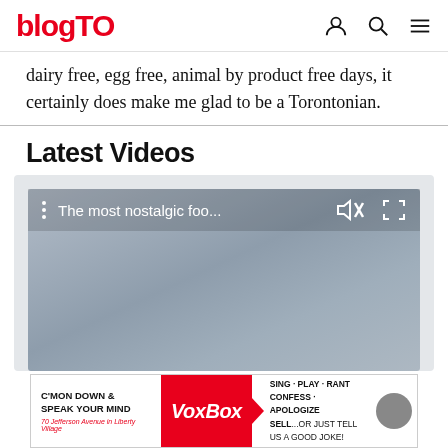blogTO
dairy free, egg free, animal by product free days, it certainly does make me glad to be a Torontonian.
Latest Videos
[Figure (screenshot): Video player showing 'The most nostalgic foo...' with mute and fullscreen icons on a grey gradient background]
[Figure (other): Advertisement banner: C'MON DOWN & SPEAK YOUR MIND VoxBox SING PLAY RANT CONFESS APOLOGIZE SELL...or just tell us a good joke! 70 Jefferson Avenue in Liberty Village]